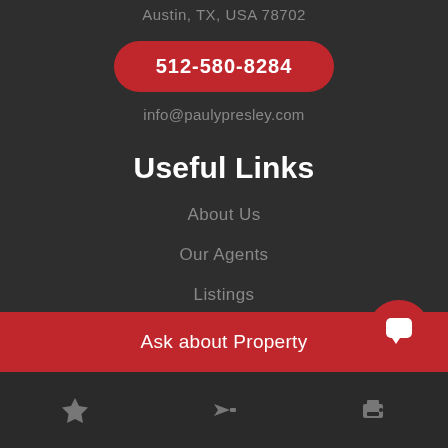Austin, TX, USA 78702
512-580-8284
info@paulypresley.com
Useful Links
About Us
Our Agents
Listings
Ask about Property